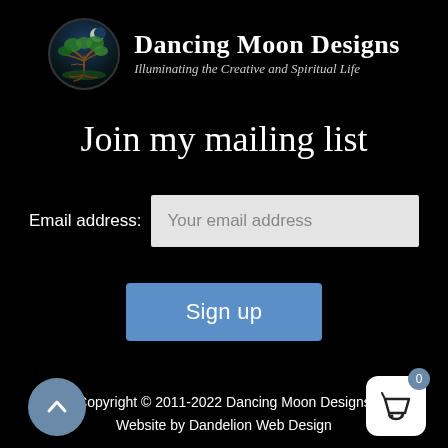[Figure (logo): Dancing Moon Designs logo: circular emblem with a stylized tree against a night sky with moon, beside brand name and tagline]
Join my mailing list
Email address: [input field] Your email address
Sign up
Copyright © 2011-2022 Dancing Moon Designs
Website by Dandelion Web Design